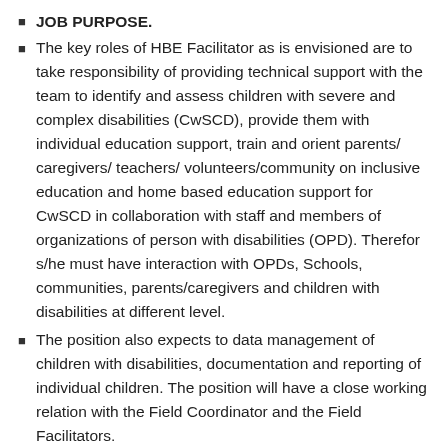JOB PURPOSE.
The key roles of HBE Facilitator as is envisioned are to take responsibility of providing technical support with the team to identify and assess children with severe and complex disabilities (CwSCD), provide them with individual education support, train and orient parents/ caregivers/ teachers/ volunteers/community on inclusive education and home based education support for CwSCD in collaboration with staff and members of organizations of person with disabilities (OPD). Therefor s/he must have interaction with OPDs, Schools, communities, parents/caregivers and children with disabilities at different level.
The position also expects to data management of children with disabilities, documentation and reporting of individual children. The position will have a close working relation with the Field Coordinator and the Field Facilitators.
KEY TASKS.